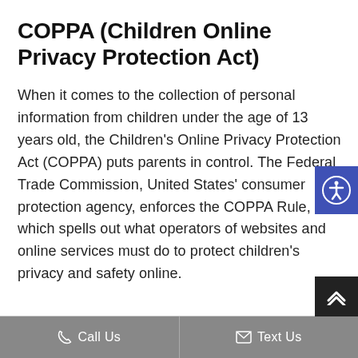COPPA (Children Online Privacy Protection Act)
When it comes to the collection of personal information from children under the age of 13 years old, the Children's Online Privacy Protection Act (COPPA) puts parents in control. The Federal Trade Commission, United States' consumer protection agency, enforces the COPPA Rule, which spells out what operators of websites and online services must do to protect children's privacy and safety online.
Call Us   Text Us